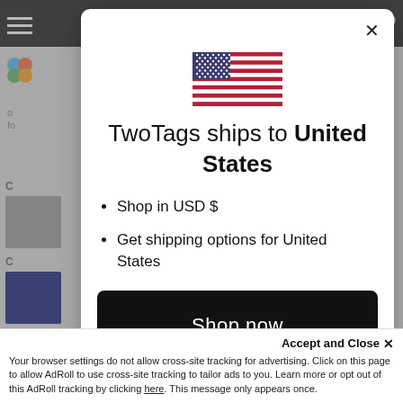[Figure (screenshot): Modal dialog showing TwoTags ships to United States, with US flag, bullet points about USD and shipping options, and a Shop now button. Behind the modal is a grayed-out e-commerce website. At the bottom is a cookie consent bar.]
TwoTags ships to United States
Shop in USD $
Get shipping options for United States
Shop now
Change shipping country
Accept and Close ×
Your browser settings do not allow cross-site tracking for advertising. Click on this page to allow AdRoll to use cross-site tracking to tailor ads to you. Learn more or opt out of this AdRoll tracking by clicking here. This message only appears once.